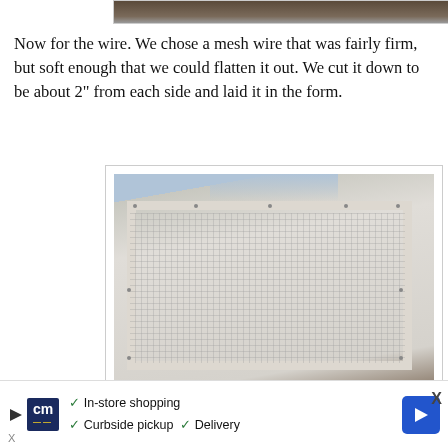[Figure (photo): Top cropped photo showing bottom edge of a wooden form or mold, partially visible]
Now for the wire. We chose a mesh wire that was fairly firm, but soft enough that we could flatten it out. We cut it down to be about 2" from each side and laid it in the form.
[Figure (photo): Photo of a rectangular wooden form with mesh wire laid inside it, viewed from above at an angle. A person's hands are visible at the top holding the frame. Screws/staples are visible along the edges securing the mesh.]
The directions on the concrete package suggested using wires to suspend the mesh before pouring, which we tried on this form. Let me tell you - this was a terrible idea. We poured the concrete an
[Figure (other): Advertisement banner for a store: shows CM logo, checkmarks for In-store shopping, Curbside pickup, Delivery, and a blue navigation arrow icon]